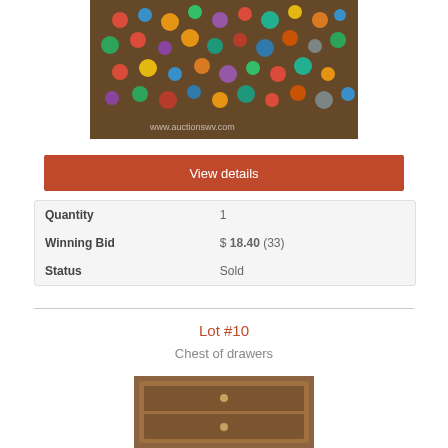[Figure (photo): Collection of colorful pins and buttons displayed on a wall or board, with wooden paneling visible in the background. Watermark text visible at the bottom of the image.]
View details
| Quantity | 1 |
| Winning Bid | $ 18.40 (33) |
| Status | Sold |
Lot #10
Chest of drawers
[Figure (photo): Partial view of a chest of drawers, wood furniture item.]